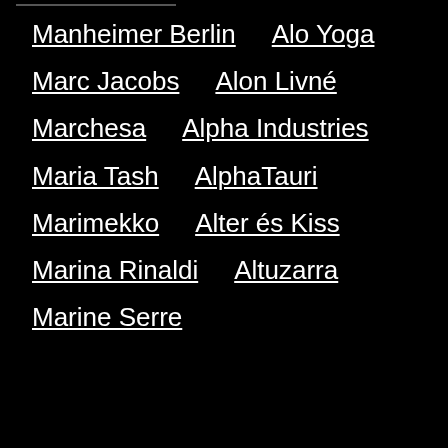Manheimer Berlin
Alo Yoga
Marc Jacobs
Alon Livné
Marchesa
Alpha Industries
Maria Tash
AlphaTauri
Marimekko
Alter és Kiss
Marina Rinaldi
Altuzarra
Marine Serre